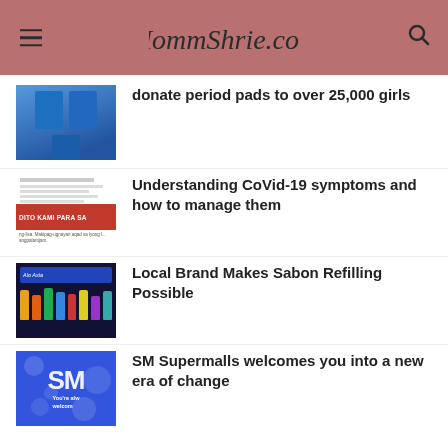MommShrie.com
[Figure (photo): Thumbnail of blue bags/packages stacked]
donate period pads to over 25,000 girls
[Figure (photo): Thumbnail of health information flyer with red banner saying DITO KAMI PARA SA]
Understanding CoVid-19 symptoms and how to manage them
[Figure (photo): Thumbnail of a store front with cleaning/soap products for refilling]
Local Brand Makes Sabon Refilling Possible
[Figure (photo): Thumbnail with SM Supermalls blue background with white dots and You're always welcome text]
SM Supermalls welcomes you into a new era of change